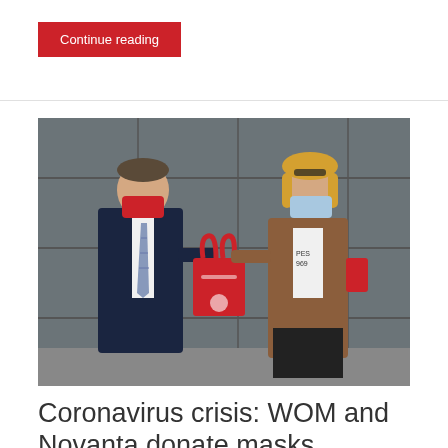Continue reading
[Figure (photo): Two people wearing face masks standing in front of a dark grey wall, holding a red branded tote bag between them. The man on the left is wearing a dark navy suit with a striped tie and a red patterned face mask. The woman on the right is wearing a brown leather jacket over a white t-shirt, black pants, and a light blue face mask with sunglasses on her head.]
Coronavirus crisis: WOM and Novanta donate masks